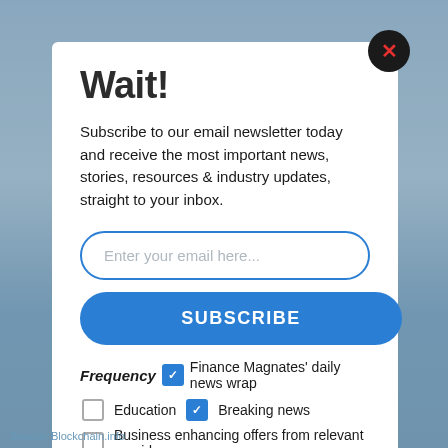[Figure (screenshot): Blue website background behind modal dialog]
Wait!
Subscribe to our email newsletter today and receive the most important news, stories, resources & industry updates, straight to your inbox.
Enter your email here...
SUBSCRIBE
Frequency  Finance Magnates' daily news wrap
Education  Breaking news
Business enhancing offers from relevant providers
Source: Blockchain.info